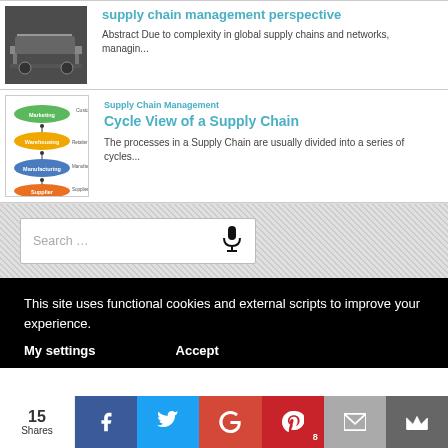supply chain management perspective
Abstract Due to complexity in global supply chains and networks, managin...
Supply Chain Management
Cycle View of a Supply Chain
The processes in a Supply Chain are usually divided into a series of cycles...
[Figure (screenshot): Search box with microphone icon on hatched background]
This site uses functional cookies and external scripts to improve your experience.
My settings
Accept
15
Shares